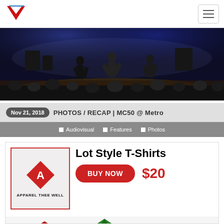[Figure (photo): Concert photo showing performers on dark stage with blue/purple lighting and crowd in foreground]
Nov 21, 2018 PHOTOS / RECAP | MC50 @ Metro
Audiovisual  Features  Photos
[Figure (illustration): Advertisement banner: Apparel Thee Well logo with red diamond shape containing letter A, Lot Style T-Shirts heading, BUY NOW button, $20 price, and three t-shirts in red, green, and gray]